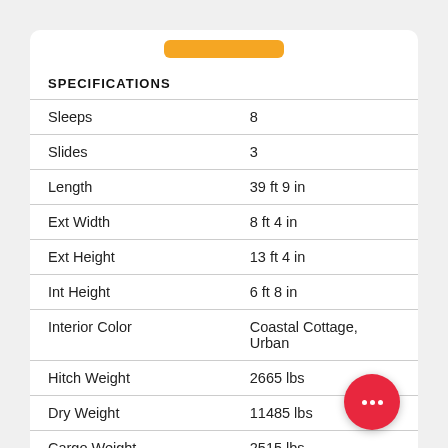SPECIFICATIONS
| Specification | Value |
| --- | --- |
| Sleeps | 8 |
| Slides | 3 |
| Length | 39 ft 9 in |
| Ext Width | 8 ft 4 in |
| Ext Height | 13 ft 4 in |
| Int Height | 6 ft 8 in |
| Interior Color | Coastal Cottage, Urban |
| Hitch Weight | 2665 lbs |
| Dry Weight | 11485 lbs |
| Cargo Weight | 2515 lbs |
| Fresh Water Capacity | 81 gals |